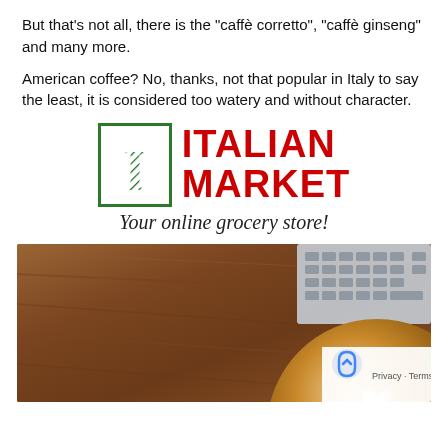But that’s not all, there is the “caffè corretto”, “caffè ginseng” and many more.
American coffee? No, thanks, not that popular in Italy to say the least, it is considered too watery and without character.
[Figure (logo): Italian Market logo with green letter I in a bordered box, red bold text ITALIAN MARKET, and cursive tagline 'Your online grocery store!']
[Figure (photo): Photo of a wooden table surface with a laptop keyboard visible in the top right corner and a latte coffee with heart latte art in the bottom right, with a reCAPTCHA privacy badge overlay]